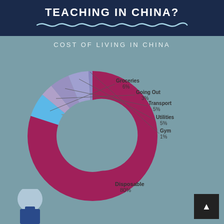TEACHING IN CHINA?
COST OF LIVING IN CHINA
[Figure (donut-chart): Cost of Living in China]